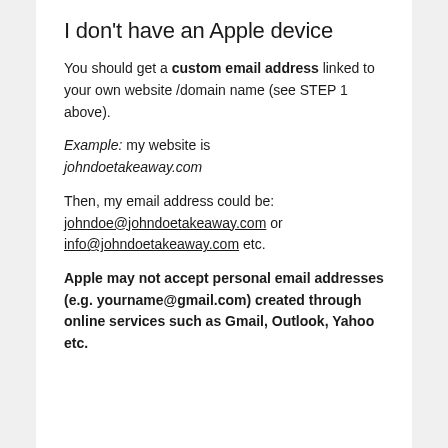I don't have an Apple device
You should get a custom email address linked to your own website /domain name (see STEP 1 above).
Example: my website is johndoetakeaway.com
Then, my email address could be: johndoe@johndoetakeaway.com or info@johndoetakeaway.com etc.
Apple may not accept personal email addresses (e.g. yourname@gmail.com) created through online services such as Gmail, Outlook, Yahoo etc.